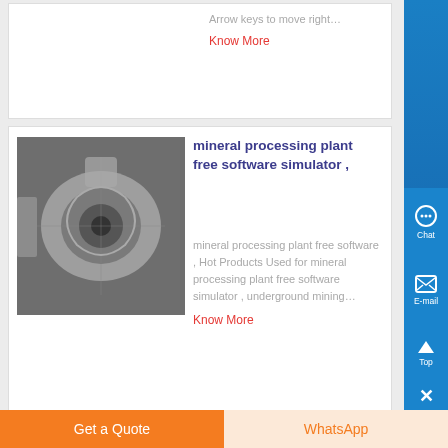Arrow keys to move right…
Know More
[Figure (photo): Close-up photo of industrial mineral processing equipment, showing metallic gears and rollers with mineral/rock material]
mineral processing plant free software simulator ,
mineral processing plant free software , Hot Products Used for mineral processing plant free software simulator , underground mining…
Know More
[Figure (photo): Photo of mine crushing plant electrical control panels/breakers in an industrial facility]
mine crushing plant simulation
Get a Quote
WhatsApp